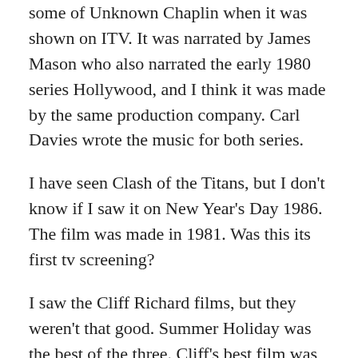some of Unknown Chaplin when it was shown on ITV. It was narrated by James Mason who also narrated the early 1980 series Hollywood, and I think it was made by the same production company. Carl Davies wrote the music for both series.
I have seen Clash of the Titans, but I don't know if I saw it on New Year's Day 1986. The film was made in 1981. Was this its first tv screening?
I saw the Cliff Richard films, but they weren't that good. Summer Holiday was the best of the three. Cliff's best film was Thunderbirds Are Go!
I may have seen Michael Aldridge's fiirst